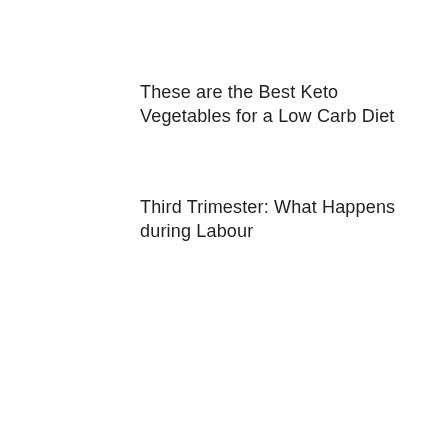These are the Best Keto Vegetables for a Low Carb Diet
Third Trimester: What Happens during Labour